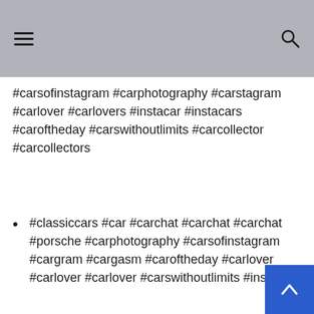#carsofinstagram #carphotography #carstagram #carlover #carlovers #instacar #instacars #caroftheday #carswithoutlimits #carcollector #carcollectors
#classiccars #car #carchat #carchat #carchat #porsche #carphotography #carsofinstagram #cargram #cargasm #caroftheday #carlover #carlover #carlover #carswithoutlimits #instacar #